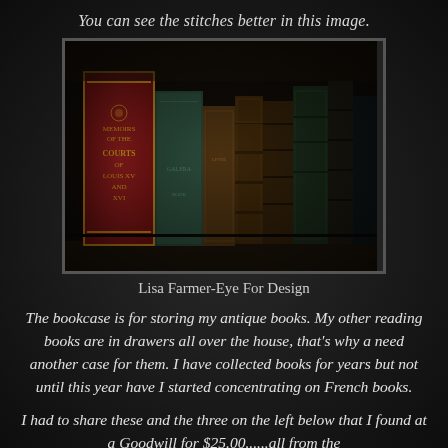You can see the stitches better in this image.
[Figure (photo): Photograph of antique books lined up on a shelf, including a prominent red and gold decorative book spine on the left, and several aged brown/green leather-bound books to the right.]
Lisa Farmer-Eye For Design
The bookcase is for storing my antique books. My other reading books are in drawers all over the house, that's why a need another case for them. I have collected books for years but not until this year have I started concentrating on French books.
I had to share these and the three on the left below that I found at a Goodwill for $25.00......all from the